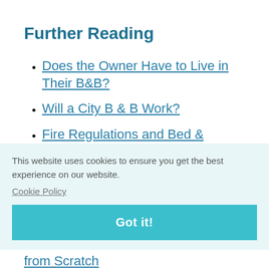Further Reading
Does the Owner Have to Live in Their B&B?
Will a City B & B Work?
Fire Regulations and Bed & Breakfast Businesses
This website uses cookies to ensure you get the best experience on our website.
Cookie Policy
Got it!